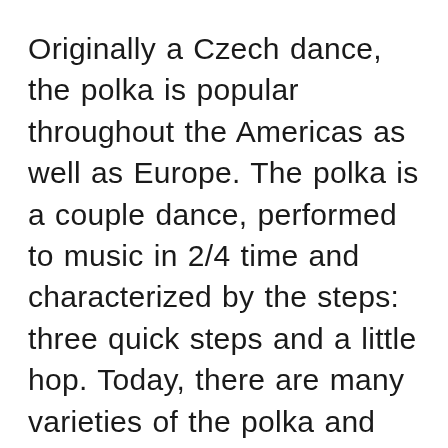Originally a Czech dance, the polka is popular throughout the Americas as well as Europe. The polka is a couple dance, performed to music in 2/4 time and characterized by the steps: three quick steps and a little hop. Today, there are many varieties of the polka and it's performed at all kinds of festivals and events.
The Polka originated in Bohemia, in the middle of the 19th century. In the U.S., the International Polka